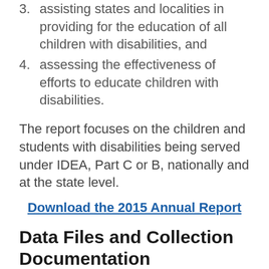3. assisting states and localities in providing for the education of all children with disabilities, and
4. assessing the effectiveness of efforts to educate children with disabilities.
The report focuses on the children and students with disabilities being served under IDEA, Part C or B, nationally and at the state level.
Download the 2015 Annual Report
Data Files and Collection Documentation
Links to the descriptions of the categories and subcategories of IDEA, Part B and Part C data